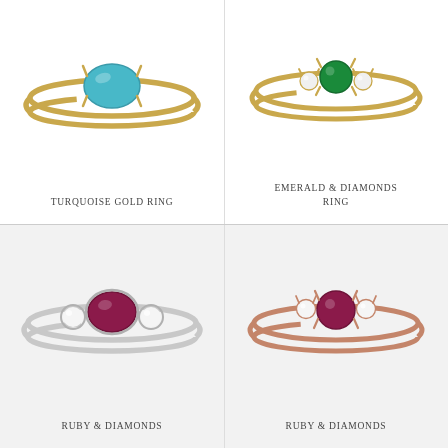[Figure (illustration): Turquoise oval gemstone on a gold ring band, photographed on white background]
TURQUOISE GOLD RING
[Figure (illustration): Round emerald gemstone flanked by two small diamonds on a gold ring band, photographed on white background]
EMERALD & DIAMONDS RING
[Figure (illustration): Oval ruby/rhodolite gemstone flanked by two bezel-set round diamonds on a silver/white gold ring band, photographed on light grey background]
RUBY & DIAMONDS
[Figure (illustration): Round ruby gemstone flanked by two small diamonds on a rose gold ring band, photographed on light grey background]
RUBY & DIAMONDS